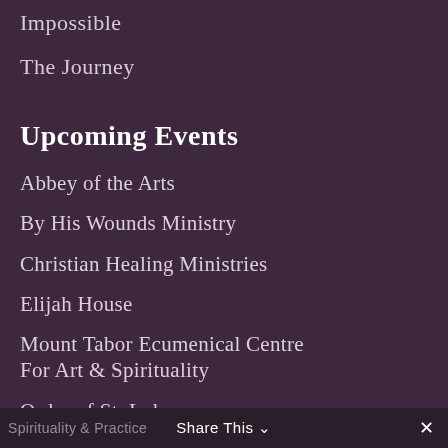Impossible
The Journey
Upcoming Events
Abbey of the Arts
By His Wounds Ministry
Christian Healing Ministries
Elijah House
Mount Tabor Ecumenical Centre For Art & Spirituality
Order of St. Luke
Spirituality & Practice  Share This ∨  ✕